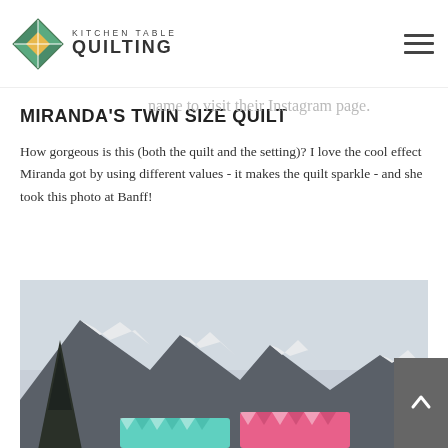Kitchen Table Quilting
...here starting with the largest and going down to the smallest. Click on the testers name to visit their Instagram page.
MIRANDA'S TWIN SIZE QUILT
How gorgeous is this (both the quilt and the setting)? I love the cool effect Miranda got by using different values - it makes the quilt sparkle - and she took this photo at Banff!
[Figure (photo): A quilt photographed outdoors at Banff with snow-capped mountains and a tree in the background. Colorful quilts in teal/turquoise and pink are visible in the lower portion.]